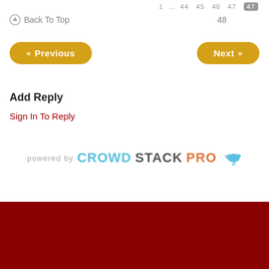1 … 44 45 46 47
↑ Back To Top   48
« Previous
Next »
Add Reply
Sign In To Reply
[Figure (logo): powered by CROWDSTACKPRO logo with small bird illustration]